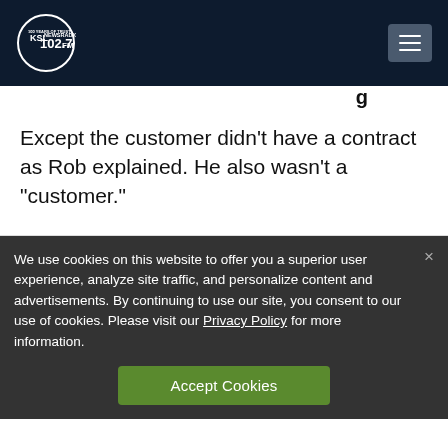[Figure (logo): KSL NewsRadio 102.7FM logo in circular design with '100 Years of Trust' text]
Except the customer didn’t have a contract as Rob explained. He also wasn’t a “customer.”
We use cookies on this website to offer you a superior user experience, analyze site traffic, and personalize content and advertisements. By continuing to use our site, you consent to our use of cookies. Please visit our Privacy Policy for more information.
Accept Cookies